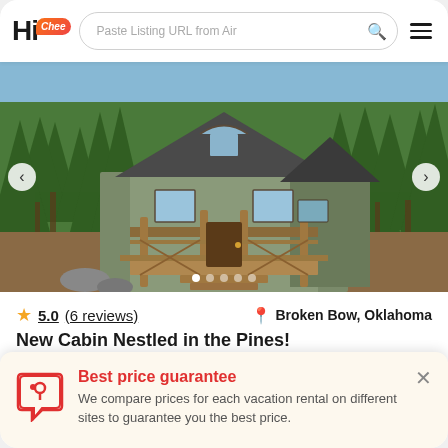Hi Chee — Paste Listing URL from Airbnb
[Figure (photo): Cabin nestled in pine trees with a wooden deck and front porch, surrounded by forest. Navigation arrows and dot indicators visible.]
★ 5.0 (6 reviews)   📍 Broken Bow, Oklahoma
New Cabin Nestled in the Pines!
Best price guarantee
We compare prices for each vacation rental on different sites to guarantee you the best price.